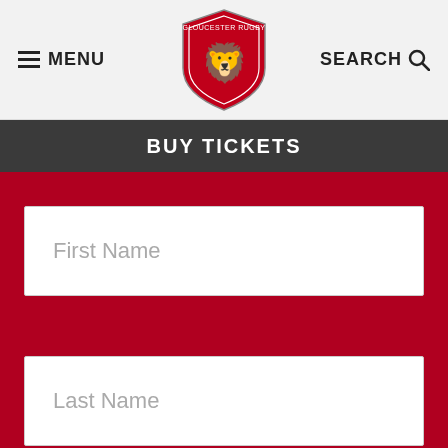MENU | Gloucester Rugby Logo | SEARCH
BUY TICKETS
First Name
Last Name
By clicking “Accept All Cookies”, you agree to the storing of cookies on your device to enhance site navigation, analyze site usage, and assist in our marketing efforts.
Cookies Settings
Accept All Cookies